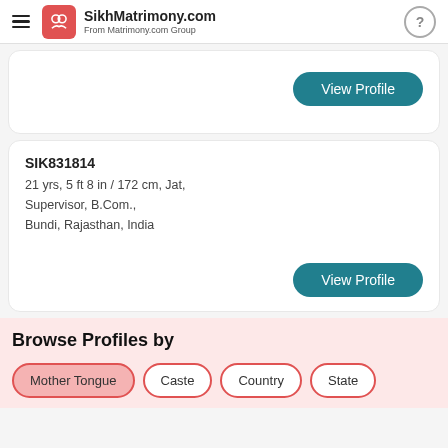SikhMatrimony.com From Matrimony.com Group
View Profile
SIK831814
21 yrs, 5 ft 8 in / 172 cm, Jat,
Supervisor, B.Com.,
Bundi, Rajasthan, India
View Profile
Browse Profiles by
Mother Tongue
Caste
Country
State